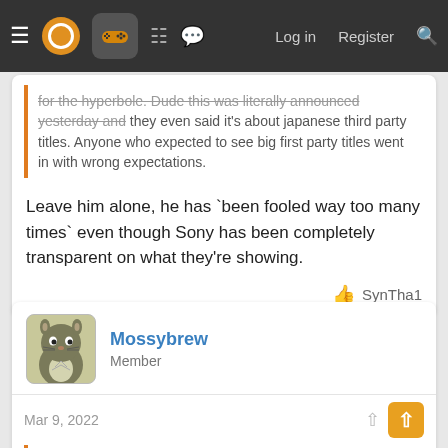Navigation bar with menu, logo, gamepad icon, grid icon, chat icon, Log in, Register, Search
for the hyperbole. Dude this was literally announced yesterday and they even said it's about japanese third party titles. Anyone who expected to see big first party titles went in with wrong expectations.
Leave him alone, he has `been fooled way too many times` even though Sony has been completely transparent on what they're showing.
SynTha1
Mossybrew
Member
Mar 9, 2022
Nankatsu said:
I though I was watching Anthem 2 reveal for a second there.